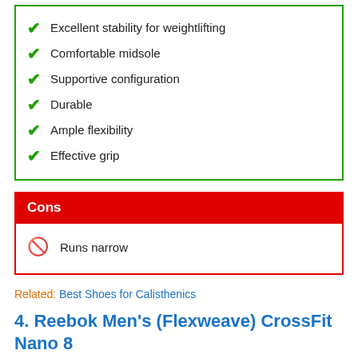Excellent stability for weightlifting
Comfortable midsole
Supportive configuration
Durable
Ample flexibility
Effective grip
Cons
Runs narrow
Related: Best Shoes for Calisthenics
4. Reebok Men's (Flexweave) CrossFit Nano 8